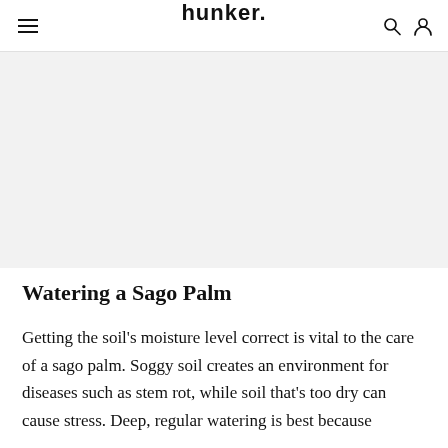hunker
[Figure (other): Gray placeholder image area below the navigation header]
Watering a Sago Palm
Getting the soil's moisture level correct is vital to the care of a sago palm. Soggy soil creates an environment for diseases such as stem rot, while soil that's too dry can cause stress. Deep, regular watering is best because